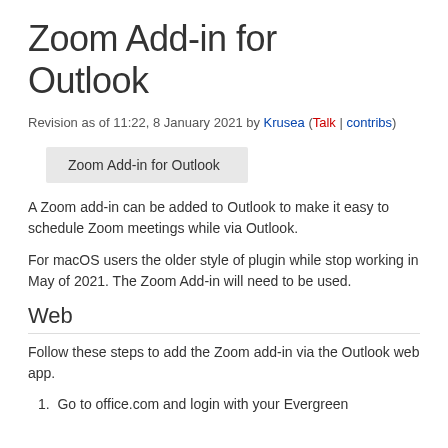Zoom Add-in for Outlook
Revision as of 11:22, 8 January 2021 by Krusea (Talk | contribs)
Zoom Add-in for Outlook
A Zoom add-in can be added to Outlook to make it easy to schedule Zoom meetings while via Outlook.
For macOS users the older style of plugin while stop working in May of 2021. The Zoom Add-in will need to be used.
Web
Follow these steps to add the Zoom add-in via the Outlook web app.
1. Go to office.com and login with your Evergreen